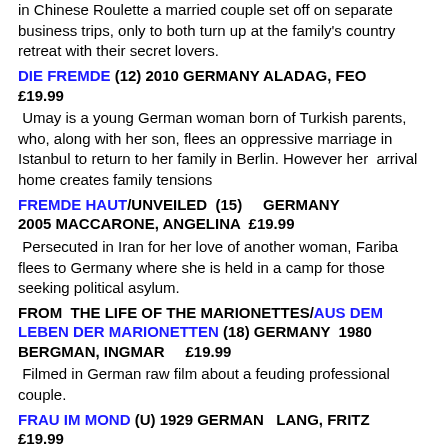in Chinese Roulette a married couple set off on separate business trips, only to both turn up at the family's country retreat with their secret lovers.
DIE FREMDE (12) 2010 GERMANY ALADAG, FEO £19.99
Umay is a young German woman born of Turkish parents, who, along with her son, flees an oppressive marriage in Istanbul to return to her family in Berlin. However her arrival home creates family tensions
FREMDE HAUT/UNVEILED (15) GERMANY 2005 MACCARONE, ANGELINA £19.99
Persecuted in Iran for her love of another woman, Fariba flees to Germany where she is held in a camp for those seeking political asylum.
FROM THE LIFE OF THE MARIONETTES/AUS DEM LEBEN DER MARIONETTEN (18) GERMANY 1980 BERGMAN, INGMAR £19.99
Filmed in German raw film about a feuding professional couple.
FRAU IM MOND (U) 1929 GERMAN LANG, FRITZ £19.99